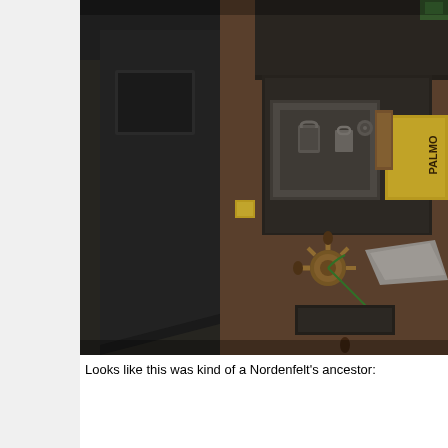[Figure (photo): Close-up photograph of an antique mechanical device, likely a Nordenfelt gun ancestor. The image shows dark metal machinery with brass/copper fittings, bolts, padlock-like elements, a valve handle with green wire/string, and a yellow label partially reading 'PALMO'. The device appears aged and industrial.]
Looks like this was kind of a Nordenfelt's ancestor: